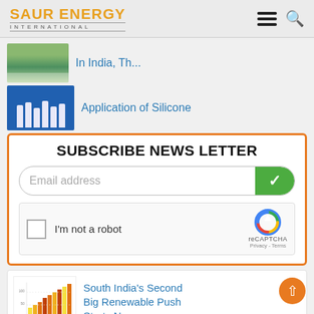SAUR ENERGY INTERNATIONAL
In India, Th...
Application of Silicone
SUBSCRIBE NEWS LETTER
Email address
I'm not a robot
[Figure (screenshot): reCAPTCHA widget with checkbox and logo]
South India's Second Big Renewable Push Starts Now
[Figure (bar-chart): Bar chart thumbnail showing renewable energy data with colored bars]
[Figure (logo): SNEC PV POWER EXPO banner advertisement in red]